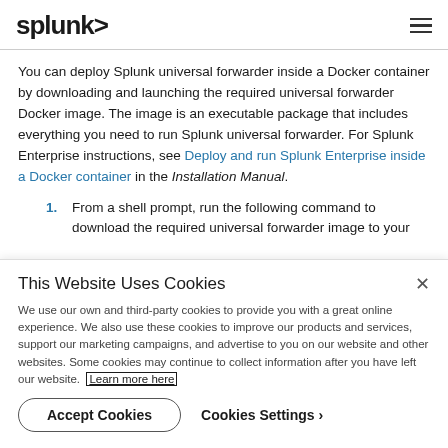splunk>
You can deploy Splunk universal forwarder inside a Docker container by downloading and launching the required universal forwarder Docker image. The image is an executable package that includes everything you need to run Splunk universal forwarder. For Splunk Enterprise instructions, see Deploy and run Splunk Enterprise inside a Docker container in the Installation Manual.
1. From a shell prompt, run the following command to download the required universal forwarder image to your
This Website Uses Cookies
We use our own and third-party cookies to provide you with a great online experience. We also use these cookies to improve our products and services, support our marketing campaigns, and advertise to you on our website and other websites. Some cookies may continue to collect information after you have left our website. Learn more here
Accept Cookies   Cookies Settings ›